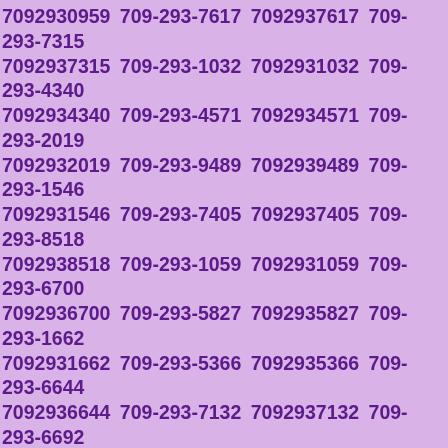7092930959 709-293-7617 7092937617 709-293-7315 7092937315 709-293-1032 7092931032 709-293-4340 7092934340 709-293-4571 7092934571 709-293-2019 7092932019 709-293-9489 7092939489 709-293-1546 7092931546 709-293-7405 7092937405 709-293-8518 7092938518 709-293-1059 7092931059 709-293-6700 7092936700 709-293-5827 7092935827 709-293-1662 7092931662 709-293-5366 7092935366 709-293-6644 7092936644 709-293-7132 7092937132 709-293-6692 7092936692 709-293-1409 7092931409 709-293-1123 7092931123 709-293-8678 7092938678 709-293-1302 7092931302 709-293-0732 7092930732 709-293-7713 7092937713 709-293-5107 7092935107 709-293-3191 7092933191 709-293-9875 7092939875 709-293-2290 7092932290 709-293-9916 7092939916 709-293-5638 7092935638 709-293-3405 7092933405 709-293-7082 7092937082 709-293-7067 7092937067 709-293-8553 7092938553 709-293-0724 7092930724 709-293-9019 7092939019 709-293-7653 7092937653 709-293-0483 7092930483 709-293-6235 7092936235 709-293-6983 7092936983 709-293-7302 7092937302 709-293-...